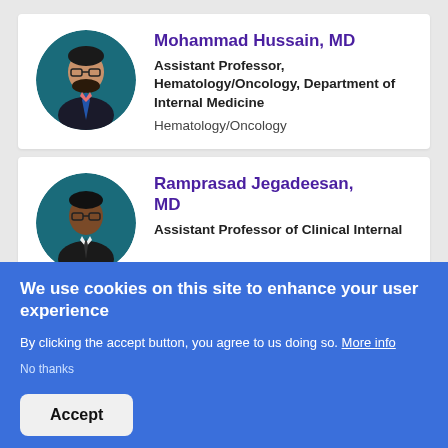[Figure (photo): Circular profile photo of Mohammad Hussain, MD, a man with glasses wearing a suit]
Mohammad Hussain, MD
Assistant Professor, Hematology/Oncology, Department of Internal Medicine
Hematology/Oncology
[Figure (photo): Circular profile photo of Ramprasad Jegadeesan, MD, a man with glasses wearing a suit]
Ramprasad Jegadeesan, MD
Assistant Professor of Clinical Internal
We use cookies on this site to enhance your user experience
By clicking the accept button, you agree to us doing so. More info
No thanks
Accept